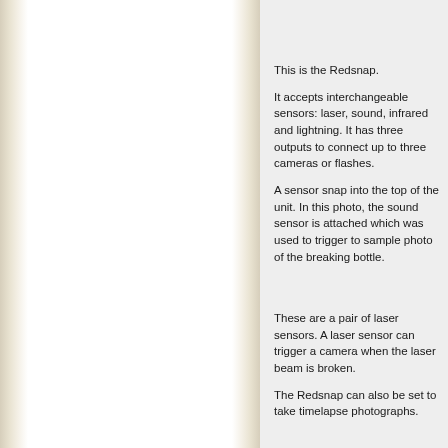[Figure (photo): Left panel showing white page area with book spine/binding visible on both left and right edges, creating a two-page spread effect. The left page is white/cream with aged paper texture at the spine edges.]
This is the Redsnap.
It accepts interchangeable sensors: laser, sound, infrared and lightning. It has three outputs to connect up to three cameras or flashes.
A sensor snap into the top of the unit. In this photo, the sound sensor is attached which was used to trigger to sample photo of the breaking bottle.
These are a pair of laser sensors. A laser sensor can trigger a camera when the laser beam is broken.
The Redsnap can also be set to take timelapse photographs.